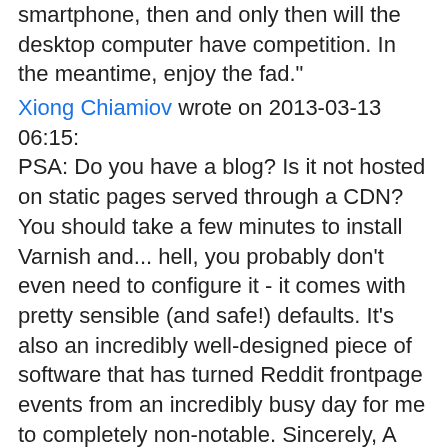smartphone, then and only then will the desktop computer have competition. In the meantime, enjoy the fad."
Xiong Chiamiov wrote on 2013-03-13 06:15:
PSA: Do you have a blog? Is it not hosted on static pages served through a CDN? You should take a few minutes to install Varnish and... hell, you probably don't even need to configure it - it comes with pretty sensible (and safe!) defaults. It's also an incredibly well-designed piece of software that has turned Reddit frontpage events from an incredibly busy day for me to completely non-notable. Sincerely, A Sysadmin
adamw wrote on 2013-03-13 08:05:
xiong: I have a PHP cache already (php-apc).
Per Øyvind Karlsen wrote on 2013-03-30 08:09:
For Mandriva Linux, we're now on a "it's done when it's done"-cycle.. ;)
adamw wrote on 2013-05-30 23:23:
Oh look, they're at it again:
http://www.pcauthority.com.au/Feature/345085,has-